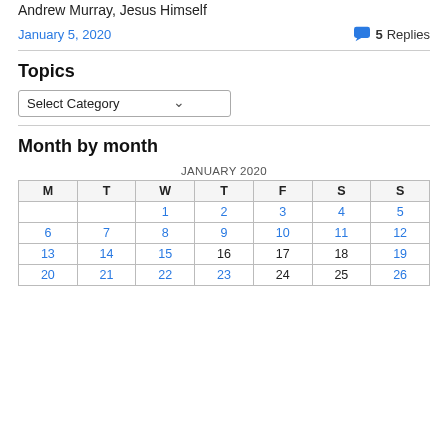Andrew Murray, Jesus Himself
January 5, 2020   5 Replies
Topics
[Figure (screenshot): A dropdown UI element labeled 'Select Category' with a chevron arrow]
Month by month
| M | T | W | T | F | S | S |
| --- | --- | --- | --- | --- | --- | --- |
|  |  | 1 | 2 | 3 | 4 | 5 |
| 6 | 7 | 8 | 9 | 10 | 11 | 12 |
| 13 | 14 | 15 | 16 | 17 | 18 | 19 |
| 20 | 21 | 22 | 23 | 24 | 25 | 26 |